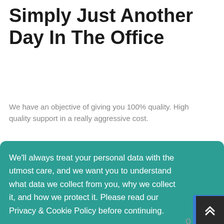Simply Just Another Day In The Office
We have an objective of giving you 100% quality. High quality support in a really aggressive cost.
We'll always treat your personal data with the utmost care, and we want you to understand what data we collect from you, why we collect it, and how we protect it. Please read our Privacy & Cookie Policy before continuing.
Read Our Privacy and Cookie Policy
Decline
Accept